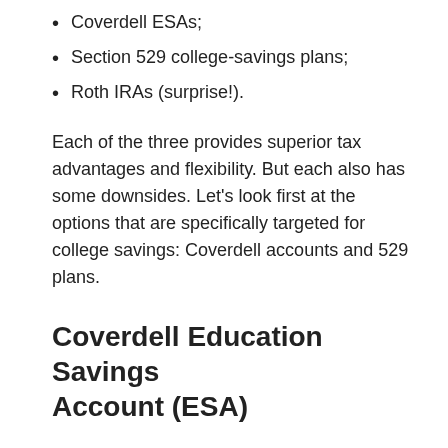Coverdell ESAs;
Section 529 college-savings plans;
Roth IRAs (surprise!).
Each of the three provides superior tax advantages and flexibility. But each also has some downsides. Let's look first at the options that are specifically targeted for college savings: Coverdell accounts and 529 plans.
Coverdell Education Savings Account (ESA)
Created in 1997 (as “Education IRAs”) and improved dramatically since, Coverdell ESAs are a compelling savings vehicle for parents whose income falls below the law’s income limits. Parents with an adjusted